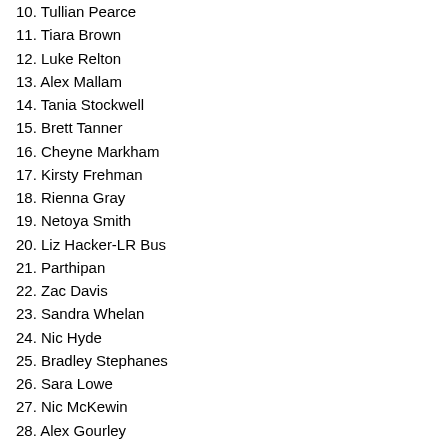10. Tullian Pearce
11. Tiara Brown
12. Luke Relton
13. Alex Mallam
14. Tania Stockwell
15. Brett Tanner
16. Cheyne Markham
17. Kirsty Frehman
18. Rienna Gray
19. Netoya Smith
20. Liz Hacker-LR Bus
21. Parthipan
22. Zac Davis
23. Sandra Whelan
24. Nic Hyde
25. Bradley Stephanes
26. Sara Lowe
27. Nic McKewin
28. Alex Gourley
29. Michael Williams
30. Greg Hilton
31. Jacob Brockfield
31/34 - 91 % pass rate
January 2012
1. Emma McTagget
2. Elliot Jennings
3. Mahala Sealey
4. Cameron Baxter